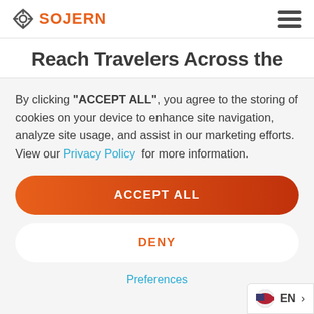SOJERN
Reach Travelers Across the
By clicking "ACCEPT ALL", you agree to the storing of cookies on your device to enhance site navigation, analyze site usage, and assist in our marketing efforts. View our Privacy Policy for more information.
ACCEPT ALL
DENY
Preferences
EN